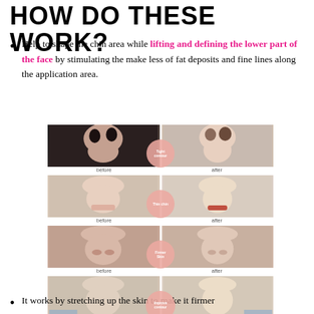HOW DO THESE WORK?
Help to shape the chin area while lifting and defining the lower part of the face by stimulating the make less of fat deposits and fine lines along the application area.
[Figure (photo): Four before-and-after comparison rows showing facial transformation. Row 1: Tight contour. Row 2: Thin chin. Row 3: Firmer skin. Row 4: Improve contour. Each row shows a before photo on the left and an after photo on the right with a circular badge label in the center.]
It works by stretching up the skin to make it firmer